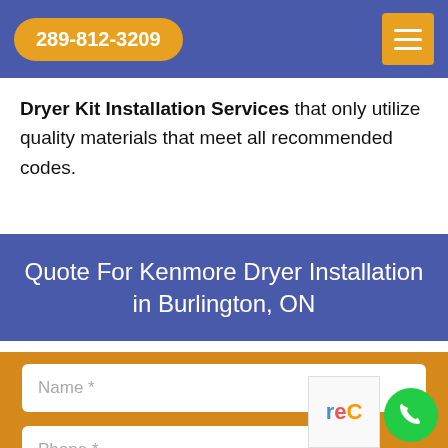289-812-3209
Dryer Kit Installation Services that only utilize quality materials that meet all recommended codes.
Quote For Kenmore Dryer Installation in Burlington, ON
Name *
Phone *